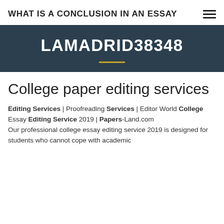WHAT IS A CONCLUSION IN AN ESSAY
LAMADRID38348
College paper editing services
Editing Services | Proofreading Services | Editor World College Essay Editing Service 2019 | Papers-Land.com Our professional college essay editing service 2019 is designed for students who cannot cope with academic